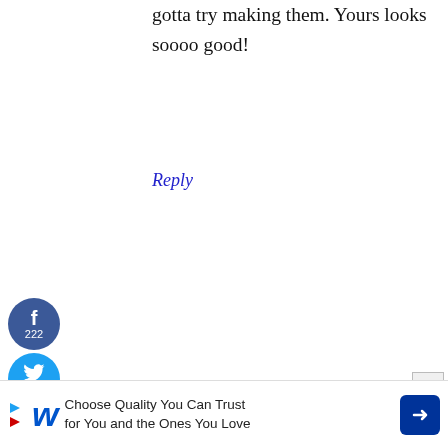gotta try making them. Yours looks soooo good!
Reply
[Figure (infographic): Social share sidebar with Facebook (222), Twitter (48), Pinterest (59) circular buttons and 329 SHARES total]
[Figure (photo): Avatar photo of Nancy at Whispered Inspirations - woman with glasses and blonde hair]
NANCY AT WHISPERED INSPIRATIONS says
APRIL 14, 2017 AT 9:03 AM
These would be so good for breakfast, or dinner, or snack! It might be time to
[Figure (infographic): Advertisement banner for Walgreens: Choose Quality You Can Trust for You and the Ones You Love]
X